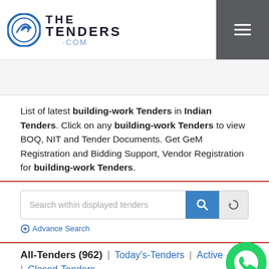[Figure (logo): TheTenders.com logo with circular arrow icon and text THE TENDERS .COM]
List of latest building-work Tenders in Indian Tenders. Click on any building-work Tenders to view BOQ, NIT and Tender Documents. Get GeM Registration and Bidding Support, Vendor Registration for building-work Tenders.
Search within displayed tenders
Advance Search
All-Tenders (962) | Today's-Tenders | Active | Closed-Tenders
State Government